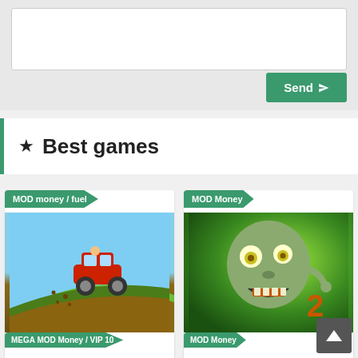[Figure (screenshot): Text input area (textarea) with a teal/green 'Send' button with paper airplane icon]
★ Best games
[Figure (screenshot): Game card for Hill Climb Racing with 'MOD money / fuel' badge and game icon showing red car on a hill]
Hill Climb Racing
[Figure (screenshot): Game card for Plants vs. Zombies 2 with 'MOD Money' badge and zombie character icon]
Plants vs. Zombies 2
[Figure (screenshot): Partial game card with 'MEGA MOD Money / VIP 10' badge at bottom]
[Figure (screenshot): Partial game card with 'MOD Money' badge at bottom]